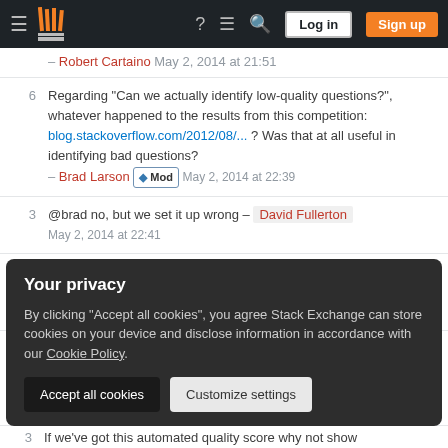Stack Exchange navigation bar with hamburger, logo, help, chat, search icons, Log in and Sign up buttons
– Robert Cartaino May 2, 2014 at 21:51
Regarding "Can we actually identify low-quality questions?", whatever happened to the results from this competition: blog.stackoverflow.com/2012/08/... ? Was that at all useful in identifying bad questions? – Brad Larson ◆ Mod May 2, 2014 at 22:39
@brad no, but we set it up wrong – David Fullerton May 2, 2014 at 22:41
If we're going to let people gain rep for the sake of gaining rep, I think it's high time we stop using rep as a primary measure for determining when and to whom to
Your privacy

By clicking "Accept all cookies", you agree Stack Exchange can store cookies on your device and disclose information in accordance with our Cookie Policy.

Accept all cookies   Customize settings
3   If we've got this automated quality score why not show